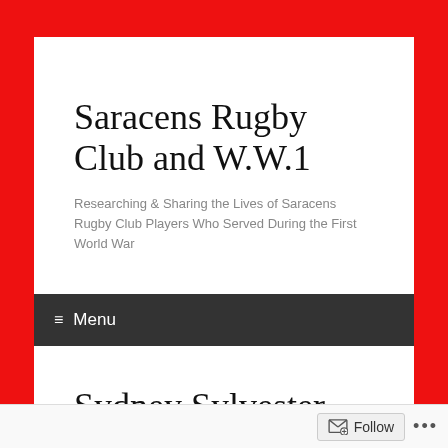Saracens Rugby Club and W.W.1
Researching & Sharing the Lives of Saracens Rugby Club Players Who Served During the First World War
≡ Menu
Sydney Sylvester Joins Up